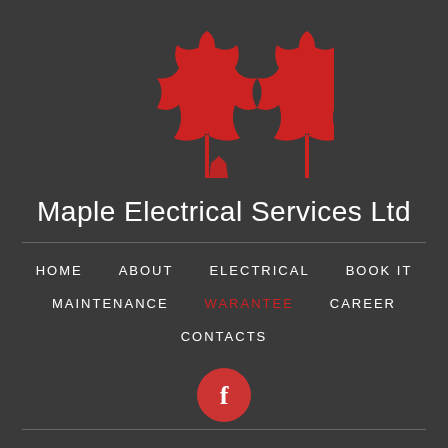[Figure (logo): Two red maple leaves forming an M shape, the logo for Maple Electrical Services Ltd]
Maple Electrical Services Ltd
HOME
ABOUT
ELECTRICAL
BOOK IT
MAINTENANCE
WARANTEE
CAREER
CONTACTS
[Figure (logo): Facebook icon - red circle with white letter f]